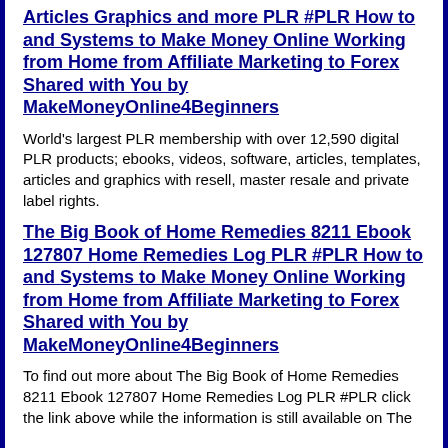Articles Graphics and more PLR #PLR How to and Systems to Make Money Online Working from Home from Affiliate Marketing to Forex Shared with You by MakeMoneyOnline4Beginners
World's largest PLR membership with over 12,590 digital PLR products; ebooks, videos, software, articles, templates, articles and graphics with resell, master resale and private label rights.
The Big Book of Home Remedies 8211 Ebook 127807 Home Remedies Log PLR #PLR How to and Systems to Make Money Online Working from Home from Affiliate Marketing to Forex Shared with You by MakeMoneyOnline4Beginners
To find out more about The Big Book of Home Remedies 8211 Ebook 127807 Home Remedies Log PLR #PLR click the link above while the information is still available on The